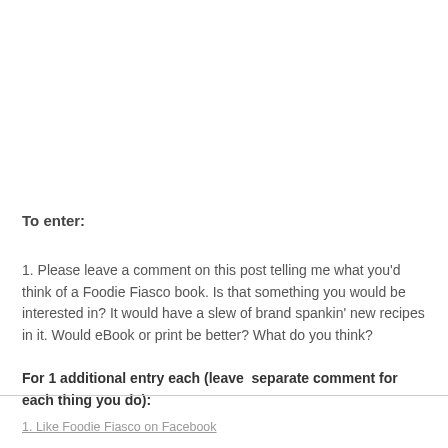To enter:
1. Please leave a comment on this post telling me what you’d think of a Foodie Fiasco book. Is that something you would be interested in? It would have a slew of brand spankin’ new recipes in it. Would eBook or print be better? What do you think?
For 1 additional entry each (leave  separate comment for each thing you do):
1. Like Foodie Fiasco on Facebook